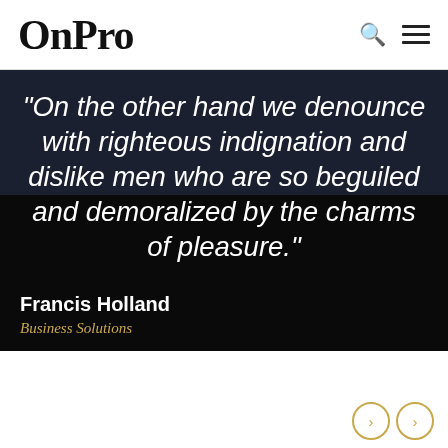OnPro
"On the other hand we denounce with righteous indignation and dislike men who are so beguiled and demoralized by the charms of pleasure."
Francis Holland
Business Solutions